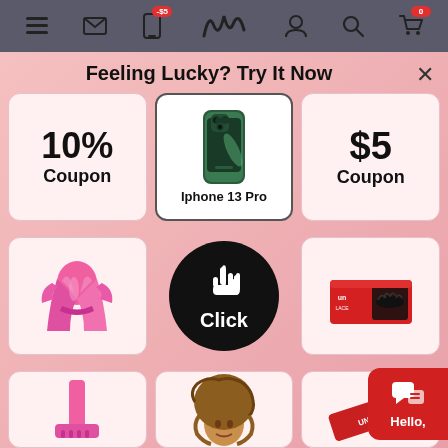Navigation bar with menu, mail, phone (-$5 badge), logo, user, search, cart (0) icons
Feeling Lucky? Try It Now
[Figure (other): 10% Coupon prize card]
[Figure (other): iPhone 13 Pro prize card with green iPhone image]
[Figure (other): $5 Coupon prize card]
[Figure (other): Pink satin robe prize card]
[Figure (other): Black circle Click button]
[Figure (other): Red eyelash box prize card]
[Figure (other): Pink item partial card (bottom row left)]
[Figure (other): Curly hair wig partial card (bottom row center)]
[Figure (other): Red ribbon partial card (bottom row right)]
[Figure (other): Hello chat widget in bottom right corner]